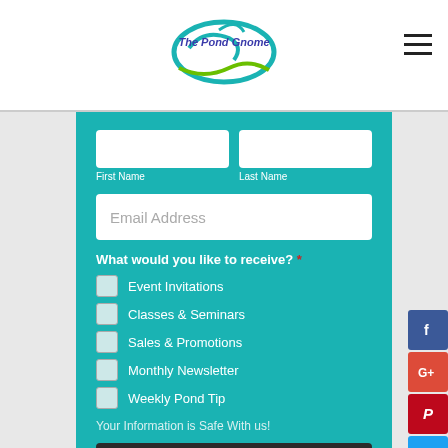[Figure (logo): The Pond Gnome logo with water wave graphic and blue/green text]
[Figure (infographic): Newsletter signup form with First Name, Last Name, Email Address fields, checkboxes for Event Invitations, Classes & Seminars, Sales & Promotions, Monthly Newsletter, Weekly Pond Tip, and a SUBMIT button on teal background]
Your Information is Safe With us!
[Figure (infographic): Social media sidebar icons: Facebook, Google+, Pinterest, Twitter, Messenger]